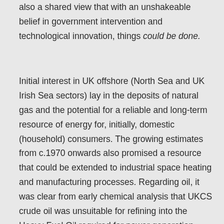also a shared view that with an unshakeable belief in government intervention and technological innovation, things could be done.
Initial interest in UK offshore (North Sea and UK Irish Sea sectors) lay in the deposits of natural gas and the potential for a reliable and long-term resource of energy for, initially, domestic (household) consumers. The growing estimates from c.1970 onwards also promised a resource that could be extended to industrial space heating and manufacturing processes. Regarding oil, it was clear from early chemical analysis that UKCS crude oil was unsuitable for refining into the Heavy Fuel Oil required for power generation, and so the North Sea offered nothing in the way of breaking energy dependency on indigenous coal, and the National Union of